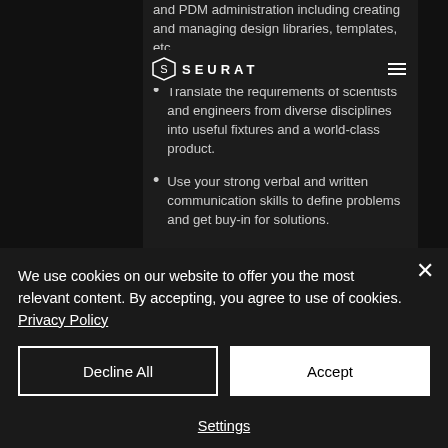[Figure (logo): Seurat company logo with geometric S icon and 'SEURAT' text in white on dark background]
and PDM administration including creating and managing design libraries, templates, etc.
Translate the requirements of scientists and engineers from diverse disciplines into useful fixtures and a world-class product.
Use your strong verbal and written communication skills to define problems and get buy-in for solutions.
Guide less experienced engineers and designers in design best practices.
We use cookies on our website to offer you the most relevant content. By accepting, you agree to use of cookies. Privacy Policy
Decline All
Accept
Settings